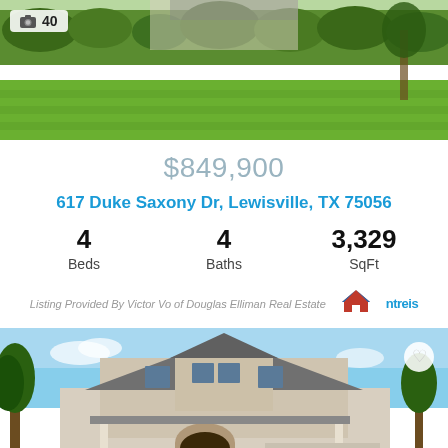[Figure (photo): Exterior front view of a home with green lawn and landscaping, walkway leading to front door. Photo badge shows camera icon and '40'.]
$849,900
617 Duke Saxony Dr, Lewisville, TX 75056
4 Beds  4 Baths  3,329 SqFt
Listing Provided By Victor Vo of Douglas Elliman Real Estate  ntreis
[Figure (photo): Exterior front view of a two-story stone and brick house with arched entry, two-car garage. Heart icon (favorite) in top right. Photo badge shows camera icon and '3'.]